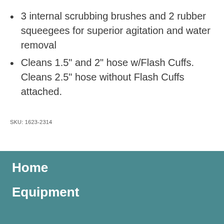3 internal scrubbing brushes and 2 rubber squeegees for superior agitation and water removal
Cleans 1.5" and 2" hose w/Flash Cuffs. Cleans 2.5" hose without Flash Cuffs attached.
SKU: 1623-2314
Home
Equipment